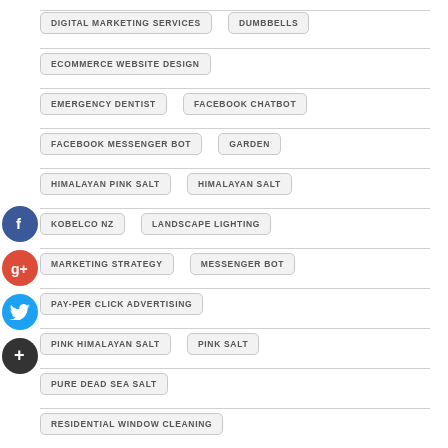DIGITAL MARKETING SERVICES
DUMBBELLS
ECOMMERCE WEBSITE DESIGN
EMERGENCY DENTIST
FACEBOOK CHATBOT
FACEBOOK MESSENGER BOT
GARDEN
HIMALAYAN PINK SALT
HIMALAYAN SALT
KOBELCO NZ
LANDSCAPE LIGHTING
MARKETING STRATEGY
MESSENGER BOT
PAY-PER CLICK ADVERTISING
PINK HIMALAYAN SALT
PINK SALT
PURE DEAD SEA SALT
RESIDENTIAL WINDOW CLEANING